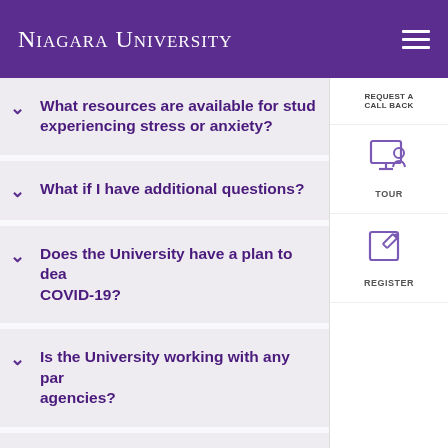Niagara University
What resources are available for students experiencing stress or anxiety?
What if I have additional questions?
Does the University have a plan to deal with COVID-19?
Is the University working with any partner agencies?
How will the University keep me updated on developments?
[Figure (screenshot): Sidebar navigation panel with REQUEST A CALL BACK text, TOUR icon, and REGISTER icon]
REQUEST A CALL BACK
TOUR
REGISTER